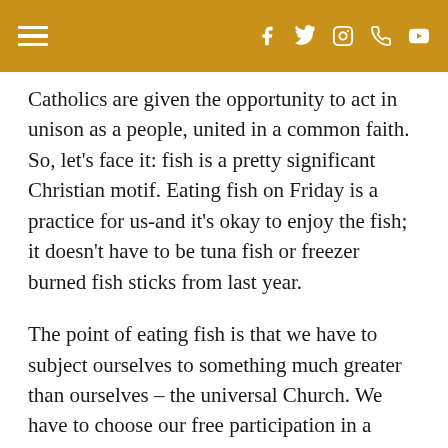Navigation header with hamburger menu and social icons (Facebook, Twitter, Instagram, Phone, YouTube)
Catholics are given the opportunity to act in unison as a people, united in a common faith. So, let's face it: fish is a pretty significant Christian motif. Eating fish on Friday is a practice for us-and it's okay to enjoy the fish; it doesn't have to be tuna fish or freezer burned fish sticks from last year.
The point of eating fish is that we have to subject ourselves to something much greater than ourselves – the universal Church. We have to choose our free participation in a communal body and bear witness to our faith, that human beings are sinners in need of redemption. When we do this together, we make a statement. Together, as one body, we have the power to discipl our passions, and learn how to serve others better.